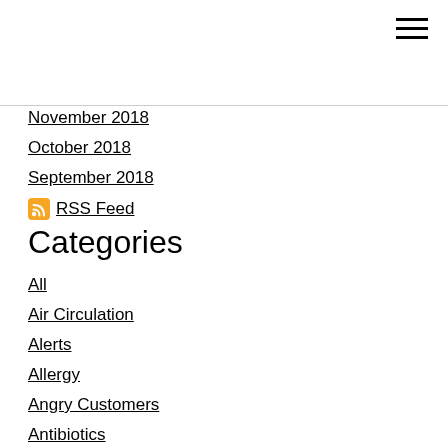November 2018
October 2018
September 2018
RSS Feed
Categories
All
Air Circulation
Alerts
Allergy
Angry Customers
Antibiotics
Apple
Appliance
Assessment
Automation